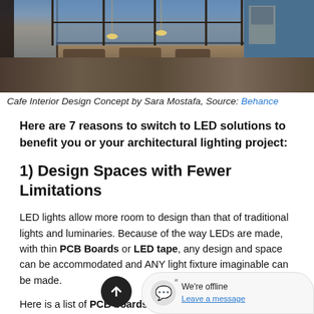[Figure (photo): Cafe interior design rendering showing a modern café with large windows, seating areas, warm lighting, and a blue accent wall on the right side. By Sara Mostafa, source: Behance.]
Cafe Interior Design Concept by Sara Mostafa, Source: Behance
Here are 7 reasons to switch to LED solutions to benefit you or your architectural lighting project:
1) Design Spaces with Fewer Limitations
LED lights allow more room to design than that of traditional lights and luminaries. Because of the way LEDs are made, with thin PCB Boards or LED tape, any design and space can be accommodated and ANY light fixture imaginable can be made.
Here is a list of PCB boards for LEDs we use to make a complete any new or retrofitted LED round LED PCB, Star LED PCB, Cu... PCB, Ring LED PCB ... and a LED PCB, Squa‌red LED PCB